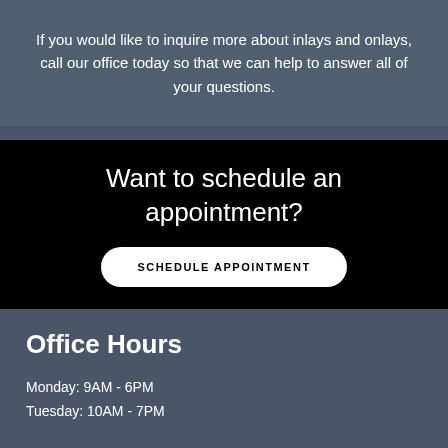If you would like to inquire more about inlays and onlays, call our office today so that we can help to answer all of your questions.
Want to schedule an appointment?
SCHEDULE APPOINTMENT
Office Hours
Monday: 9AM - 6PM
Tuesday: 10AM - 7PM